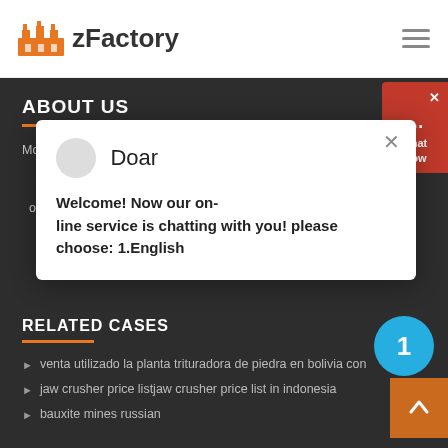zFactory
ABOUT US
More than 40 series, hundreds of specifications of crushers, sand making machines, grinding mills, mobile crushers, etc. for limestone, marble, feldspar, chromium, coal, quartz, copper, iron ore, gold ore, construction waste, and other fields.
[Figure (other): Chat popup with avatar, name 'Doar', and message: Welcome! Now our on-line service is chatting with you! please choose: 1.English]
RELATED CASES
venta utilizado la planta trituradora de piedra en bolivia con
jaw crusher price listjaw crusher price list in indonesia
bauxite mines russian